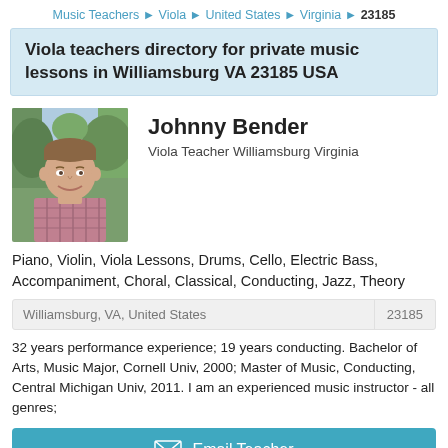Music Teachers ▶ Viola ▶ United States ▶ Virginia ▶ 23185
Viola teachers directory for private music lessons in Williamsburg VA 23185 USA
[Figure (photo): Headshot photo of Johnny Bender, a man smiling, wearing a plaid shirt, outdoors with trees in background]
Johnny Bender
Viola Teacher Williamsburg Virginia
Piano, Violin, Viola Lessons, Drums, Cello, Electric Bass, Accompaniment, Choral, Classical, Conducting, Jazz, Theory
| Williamsburg, VA, United States | 23185 |
| --- | --- |
32 years performance experience; 19 years conducting. Bachelor of Arts, Music Major, Cornell Univ, 2000; Master of Music, Conducting, Central Michigan Univ, 2011. I am an experienced music instructor - all genres;
Email Teacher
Leave Review